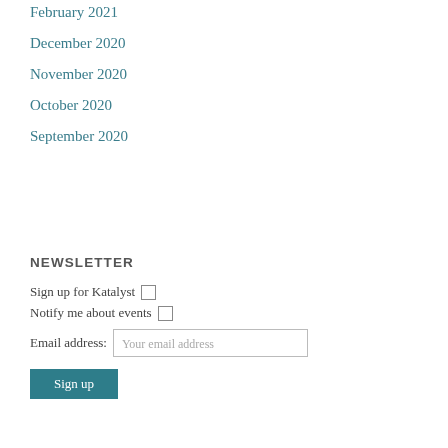February 2021
December 2020
November 2020
October 2020
September 2020
NEWSLETTER
Sign up for Katalyst
Notify me about events
Email address: Your email address
Sign up